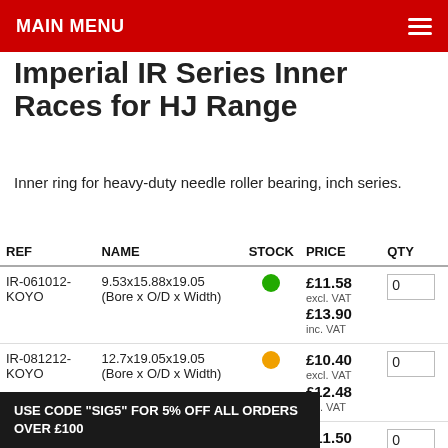MAIN MENU
Imperial IR Series Inner Races for HJ Range
Inner ring for heavy-duty needle roller bearing, inch series.
| REF | NAME | STOCK | PRICE | QTY |
| --- | --- | --- | --- | --- |
| IR-061012-KOYO | 9.53x15.88x19.05 (Bore x O/D x Width) | green | £11.58 excl. VAT
£13.90 inc. VAT | 0 |
| IR-081212-KOYO | 12.7x19.05x19.05 (Bore x O/D x Width) | amber | £10.40 excl. VAT
£12.48 inc. VAT | 0 |
| IR-081216-KOYO | 12.7x19.05x25.4 (Bore x O/D x Width) | green | £11.50 excl. VAT
£13.80 inc. VAT | 0 |
USE CODE "SIG5" FOR 5% OFF ALL ORDERS OVER £100